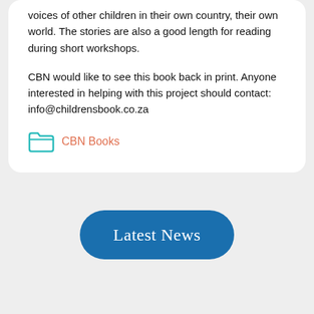voices of other children in their own country, their own world. The stories are also a good length for reading during short workshops.
CBN would like to see this book back in print. Anyone interested in helping with this project should contact: info@childrensbook.co.za
CBN Books
Latest News